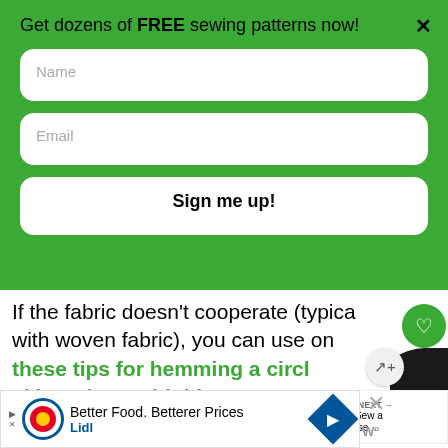Get dozens of FREE sewing patterns now!
Name
Email
Sign me up!
If the fabric doesn’t cooperate (typica with woven fabric), you can use one these tips for hemming a circle skirt or hem with bias tape shown here.
[Figure (screenshot): What's Next widget showing 'How to Sew a Pillowcase...' with thumbnail photo]
[Figure (screenshot): Lidl advertisement: Better Food. Betterer Prices with Lidl logo and blue diamond icon]